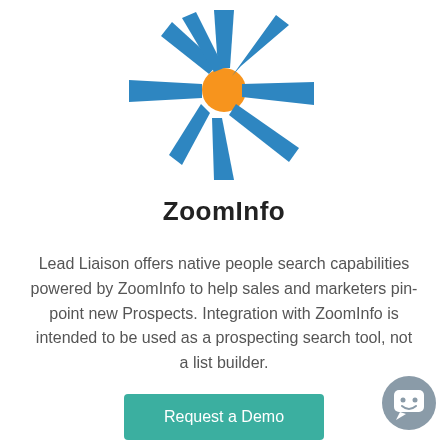[Figure (logo): ZoomInfo logo: a sun/starburst with blue trapezoidal rays radiating from an orange circular center]
ZoomInfo
Lead Liaison offers native people search capabilities powered by ZoomInfo to help sales and marketers pin-point new Prospects. Integration with ZoomInfo is intended to be used as a prospecting search tool, not a list builder.
[Figure (other): Teal/green 'Request a Demo' button at bottom center]
[Figure (other): Gray circular chat/messenger bubble icon in bottom right corner]